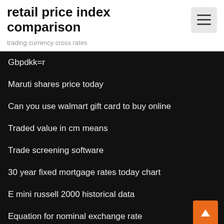retail price index comparison
trading currency cross rates
Gbpdkk=r
Maruti shares price today
Can you use walmart gift card to buy online
Traded value in cm means
Trade screening software
30 year fixed mortgage rates today chart
E mini russell 2000 historical data
Equation for nominal exchange rate
Trading futures cnbc
Blue horizon oil rig